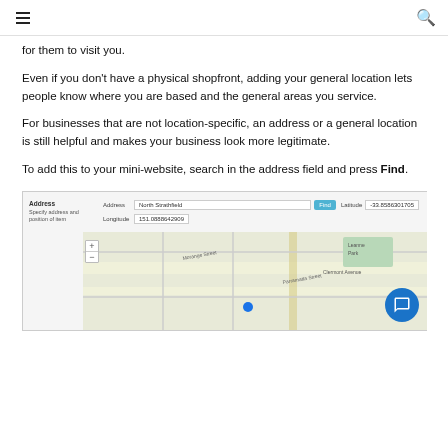[hamburger menu] [search icon]
for them to visit you.
Even if you don't have a physical shopfront, adding your general location lets people know where you are based and the general areas you service.
For businesses that are not location-specific, an address or a general location is still helpful and makes your business look more legitimate.
To add this to your mini-website, search in the address field and press Find.
[Figure (screenshot): Screenshot of an address form with fields for Address (North Strathfield), a Find button, Latitude (-33.8586301705), Longitude (151.0888642909), and a Google Maps view showing a street map.]